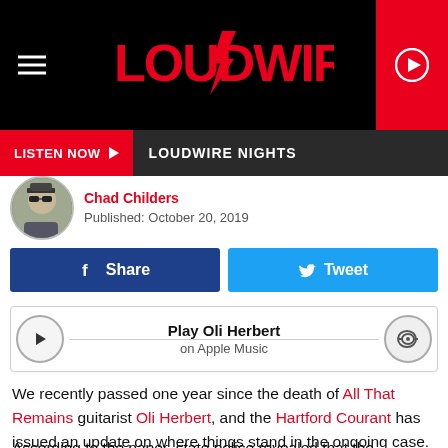[Figure (logo): Loudwire website header with hamburger menu, red Loudwire logo with lightning bolt, and red play button on right]
[Figure (infographic): Dark bar with red LISTEN NOW button with play triangle and text LOUDWIRE NIGHTS]
[Figure (photo): Author avatar photo of Chad Childers wearing sunglasses]
Chad Childers
Published: October 20, 2019
[Figure (infographic): Facebook Share button (dark blue) and Twitter Tweet button (light blue)]
[Figure (infographic): Apple Music player bar with play button, Play Oli Herbert / on Apple Music, and volume icon]
We recently passed one year since the death of All That Remains guitarist Oli Herbert, and the Hartford Courant has issued an update on where things stand in the ongoing case.
According to the paper, state police revealed that the